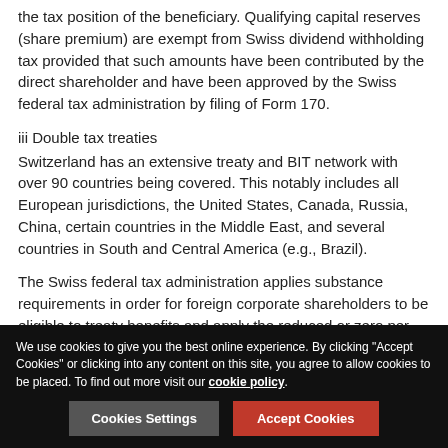the tax position of the beneficiary. Qualifying capital reserves (share premium) are exempt from Swiss dividend withholding tax provided that such amounts have been contributed by the direct shareholder and have been approved by the Swiss federal tax administration by filing of Form 170.
iii Double tax treaties
Switzerland has an extensive treaty and BIT network with over 90 countries being covered. This notably includes all European jurisdictions, the United States, Canada, Russia, China, certain countries in the Middle East, and several countries in South and Central America (e.g., Brazil).
The Swiss federal tax administration applies substance requirements in order for foreign corporate shareholders to be eligible to treaty benefits and apply the reduced or zero per cent rate for intra-group dividends.
We use cookies to give you the best online experience. By clicking "Accept Cookies" or clicking into any content on this site, you agree to allow cookies to be placed. To find out more visit our cookie policy.